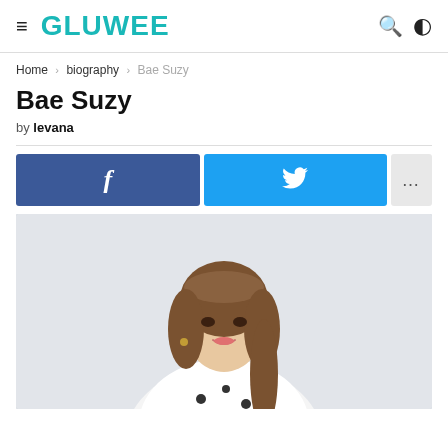GLUWEE
Home › biography › Bae Suzy
Bae Suzy
by levana
[Figure (infographic): Social share buttons: Facebook (blue), Twitter (cyan), and more (ellipsis, grey)]
[Figure (photo): Portrait photo of Bae Suzy, a young Korean woman with brown hair, smiling, wearing a white polka-dot outfit against a light background]